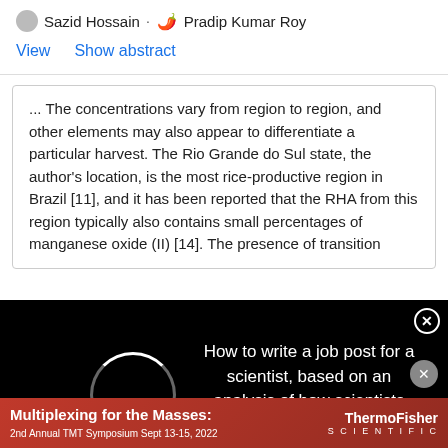Sazid Hossain · Pradip Kumar Roy
View   Show abstract
... The concentrations vary from region to region, and other elements may also appear to differentiate a particular harvest. The Rio Grande do Sul state, the author's location, is the most rice-productive region in Brazil [11], and it has been reported that the RHA from this region typically also contains small percentages of manganese oxide (II) [14]. The presence of transition
[Figure (screenshot): Black advertisement overlay with loading circle spinner and text: 'How to write a job post for a scientist, based on an analysis of how scientists have engaged with 2-million job posts']
Production of Transparent Soda-Lime Glass from Rice Husk Containing Iron and Manganese Impurities
Advertisement
[Figure (screenshot): ThermoFisher Scientific red banner advertisement: 'Multiplexing for the Masses: 2nd Annual TMT Symposium Sept 13-15, 2022']